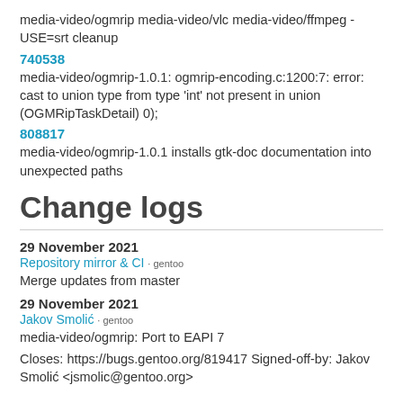media-video/ogmrip media-video/vlc media-video/ffmpeg -USE=srt cleanup
740538
media-video/ogmrip-1.0.1: ogmrip-encoding.c:1200:7: error: cast to union type from type 'int' not present in union (OGMRipTaskDetail) 0);
808817
media-video/ogmrip-1.0.1 installs gtk-doc documentation into unexpected paths
Change logs
29 November 2021
Repository mirror & CI · gentoo
Merge updates from master
29 November 2021
Jakov Smolić · gentoo
media-video/ogmrip: Port to EAPI 7
Closes: https://bugs.gentoo.org/819417 Signed-off-by: Jakov Smolić <jsmolic@gentoo.org>